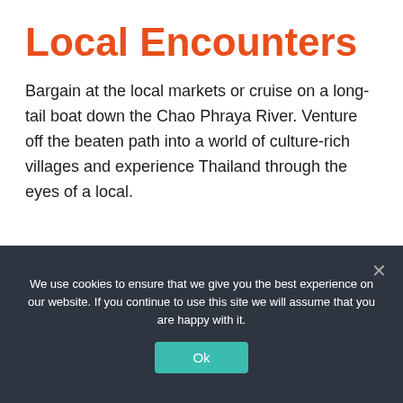Local Encounters
Bargain at the local markets or cruise on a long-tail boat down the Chao Phraya River. Venture off the beaten path into a world of culture-rich villages and experience Thailand through the eyes of a local.
[Figure (illustration): Wave and water scene with blue sky and clouds, decorative water waves layered in light blue]
We use cookies to ensure that we give you the best experience on our website. If you continue to use this site we will assume that you are happy with it.